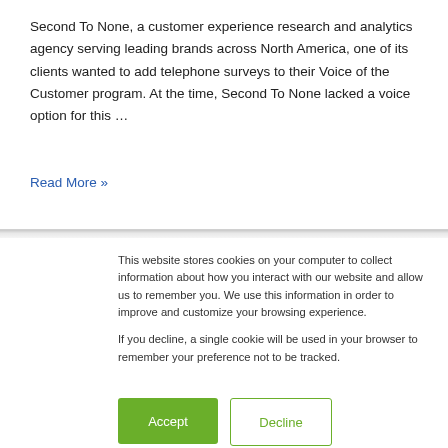Second To None, a customer experience research and analytics agency serving leading brands across North America, one of its clients wanted to add telephone surveys to their Voice of the Customer program. At the time, Second To None lacked a voice option for this …
Read More »
This website stores cookies on your computer to collect information about how you interact with our website and allow us to remember you. We use this information in order to improve and customize your browsing experience.

If you decline, a single cookie will be used in your browser to remember your preference not to be tracked.